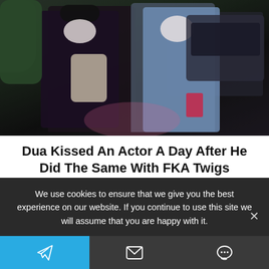[Figure (photo): Two people wearing face masks standing outdoors at night near a dark SUV, one in dark clothing with a crossbody bag, the other in a blue jacket and graphic tee]
Dua Kissed An Actor A Day After He Did The Same With FKA Twigs
Herbeauty
We use cookies to ensure that we give you the best experience on our website. If you continue to use this site we will assume that you are happy with it.
Telegram | Email | Chat